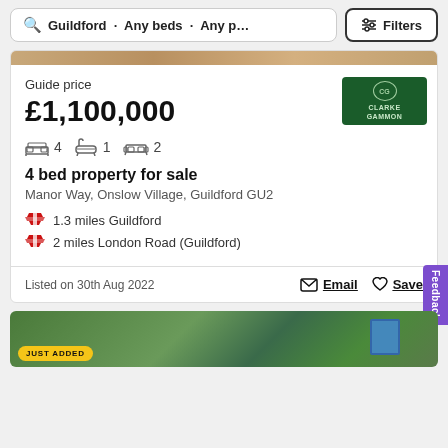Guildford · Any beds · Any p… Filters
Guide price
£1,100,000
4 beds | 1 bathroom | 2 reception rooms
4 bed property for sale
Manor Way, Onslow Village, Guildford GU2
1.3 miles Guildford
2 miles London Road (Guildford)
Listed on 30th Aug 2022
Email  Save
[Figure (photo): Bottom of page showing another property listing with greenery and a 'JUST ADDED' badge]